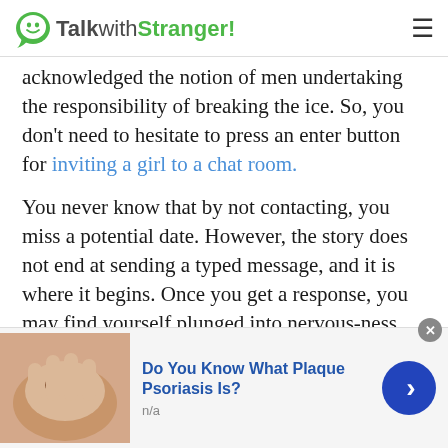TalkwithStranger!
acknowledged the notion of men undertaking the responsibility of breaking the ice. So, you don't need to hesitate to press an enter button for inviting a girl to a chat room.
You never know that by not contacting, you miss a potential date. However, the story does not end at sending a typed message, and it is where it begins. Once you get a response, you may find yourself plunged into nervous-ness. Well, this is mainstream, and most of us are obviously confused about how to respond further. At this point, all you need to think is that people having the
[Figure (infographic): Advertisement banner: skin image on left, text 'Do You Know What Plaque Psoriasis Is?' with 'n/a' subtitle, blue arrow button on right, close X button.]